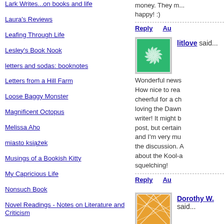Lark Writes...on books and life
Laura's Reviews
Leafing Through Life
Lesley's Book Nook
letters and sodas: booknotes
Letters from a Hill Farm
Loose Baggy Monster
Magnificent Octopus
Melissa Aho
miasto książek
Musings of a Bookish Kitty
My Capricious Life
Nonsuch Book
Novel Readings - Notes on Literature and Criticism
Olduvai Reads
Orpheus Sings the Guitar Electric
Pages turned
Petrona
money. They m... happy! :)
litlove said...
Wonderful news How nice to rea cheerful for a ch loving the Dawn writer! It might b post, but certain and I'm very mu the discussion. A about the Kool-a squelching!
Dorothy W. said...